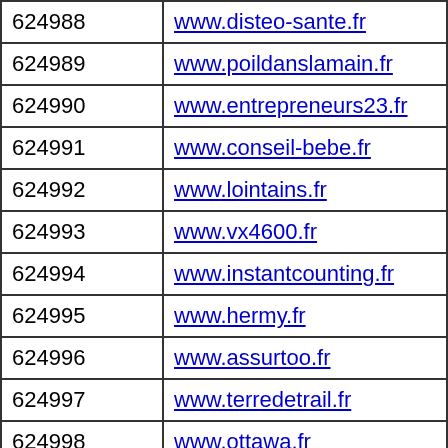| ID | URL |
| --- | --- |
| 624988 | www.disteo-sante.fr |
| 624989 | www.poildanslamain.fr |
| 624990 | www.entrepreneurs23.fr |
| 624991 | www.conseil-bebe.fr |
| 624992 | www.lointains.fr |
| 624993 | www.vx4600.fr |
| 624994 | www.instantcounting.fr |
| 624995 | www.hermy.fr |
| 624996 | www.assurtoo.fr |
| 624997 | www.terredetrail.fr |
| 624998 | www.ottawa.fr |
| 624999 | www.123solaires.fr |
| 625000 | www.sydisnet.fr |
| 625001 | www.thierryardouin.fr |
| 625002 | www.parisestservices.fr |
| 625003 | www.regional-partner.fr |